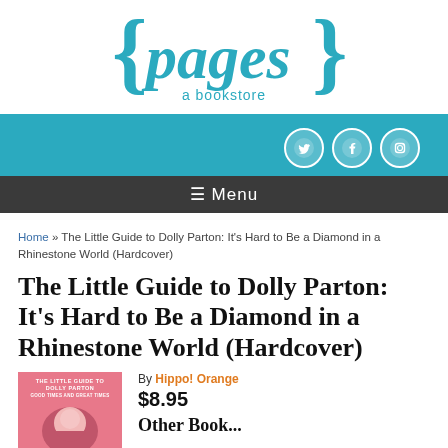[Figure (logo): Pages a bookstore logo in teal with curly braces around the word 'pages' and 'a bookstore' below]
[Figure (infographic): Teal navigation bar with Twitter, Facebook, and Instagram social media icons as white circles, and a dark menu bar with hamburger menu icon and 'Menu' text]
Home » The Little Guide to Dolly Parton: It's Hard to Be a Diamond in a Rhinestone World (Hardcover)
The Little Guide to Dolly Parton: It's Hard to Be a Diamond in a Rhinestone World (Hardcover)
[Figure (photo): Pink book cover for 'The Little Guide to Dolly Parton' with illustrated portrait]
By Hippo! Orange
$8.95
Other Book...